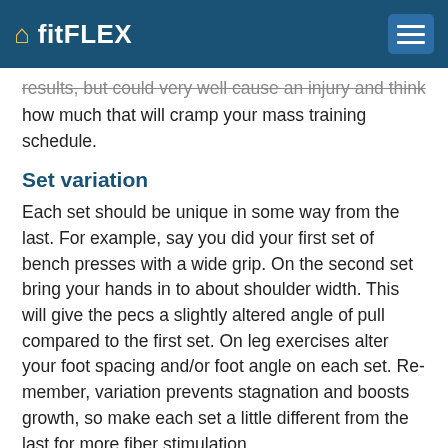fitFLEX
results, but could very well cause an injury and think how much that will cramp your mass training schedule.
Set variation
Each set should be unique in some way from the last. For example, say you did your first set of bench presses with a wide grip. On the second set bring your hands in to about shoulder width. This will give the pecs a slightly altered angle of pull compared to the first set. On leg exercises alter your foot spacing and/or foot angle on each set. Re-member, variation prevents stagnation and boosts growth, so make each set a little different from the last for more fiber stimulation.
Mind & muscle link
Getting the mind into the muscle takes lots of practice